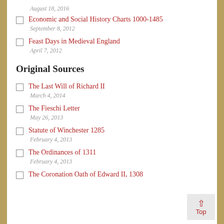August 18, 2016
Economic and Social History Charts 1000-1485
September 8, 2012
Feast Days in Medieval England
April 7, 2012
Original Sources
The Last Will of Richard II
March 4, 2014
The Fieschi Letter
May 26, 2013
Statute of Winchester 1285
February 4, 2013
The Ordinances of 1311
February 4, 2013
The Coronation Oath of Edward II, 1308